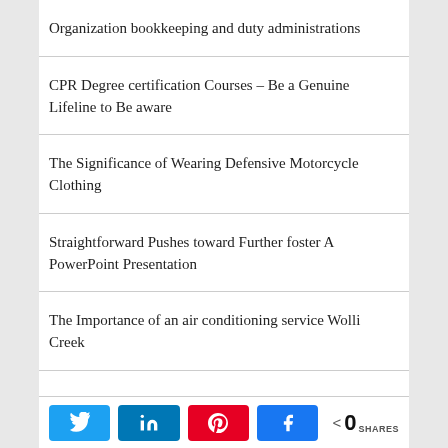Organization bookkeeping and duty administrations
CPR Degree certification Courses – Be a Genuine Lifeline to Be aware
The Significance of Wearing Defensive Motorcycle Clothing
Straightforward Pushes toward Further foster A PowerPoint Presentation
The Importance of an air conditioning service Wolli Creek